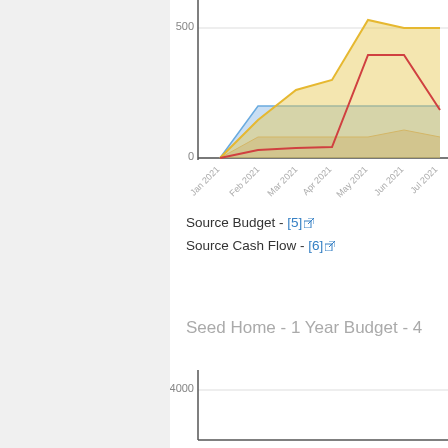[Figure (area-chart): Partial area/line chart showing multiple series (blue area, tan/brown area, yellow area, red line) over months Jan 2021 through Jul 2021 with y-axis labels 0 and 500]
Source Budget - [5]
Source Cash Flow - [6]
Seed Home - 1 Year Budget - 4
[Figure (bar-chart): Partial bar chart with y-axis label 4000, beginning of chart visible]